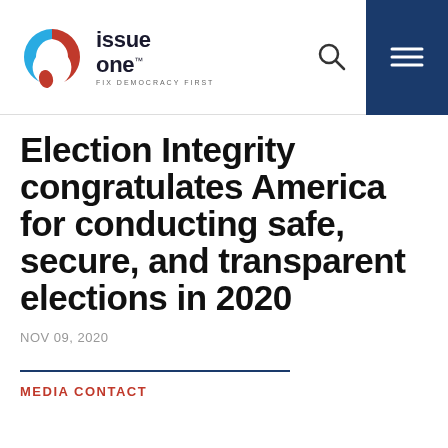[Figure (logo): Issue One logo with circular icon (blue and red) and text 'issue one FIX DEMOCRACY FIRST']
Election Integrity congratulates America for conducting safe, secure, and transparent elections in 2020
NOV 09, 2020
MEDIA CONTACT